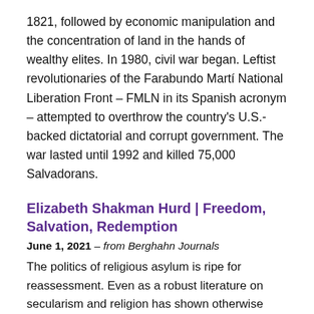1821, followed by economic manipulation and the concentration of land in the hands of wealthy elites. In 1980, civil war began. Leftist revolutionaries of the Farabundo Martí National Liberation Front – FMLN in its Spanish acronym – attempted to overthrow the country's U.S.-backed dictatorial and corrupt government. The war lasted until 1992 and killed 75,000 Salvadorans.
Elizabeth Shakman Hurd | Freedom, Salvation, Redemption
June 1, 2021 – from Berghahn Journals
The politics of religious asylum is ripe for reassessment. Even as a robust literature on secularism and religion has shown otherwise over the past two decades, much of the discussion in this field presumes that religion stands cleanly apart from law and politics. This article